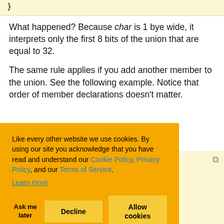}
What happened? Because char is 1 bye wide, it interprets only the first 8 bits of the union that are equal to 32.
The same rule applies if you add another member to the union. See the following example. Notice that order of member declarations doesn’t matter.
Like every other website we use cookies. By using our site you acknowledge that you have read and understand our Cookie Policy, Privacy Policy, and our Terms of Service. Learn more
ch.i = 2774186;